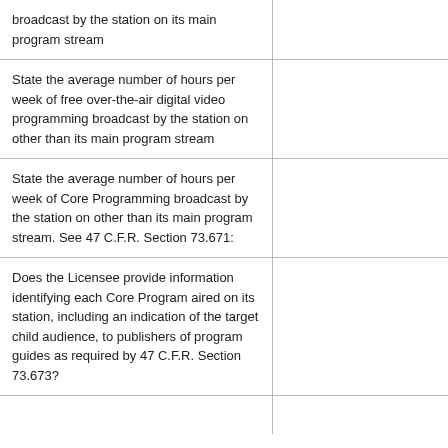| broadcast by the station on its main program stream |  |
| State the average number of hours per week of free over-the-air digital video programming broadcast by the station on other than its main program stream |  |
| State the average number of hours per week of Core Programming broadcast by the station on other than its main program stream. See 47 C.F.R. Section 73.671: |  |
| Does the Licensee provide information identifying each Core Program aired on its station, including an indication of the target child audience, to publishers of program guides as required by 47 C.F.R. Section 73.673? |  |
| [partial row cut off] |  |